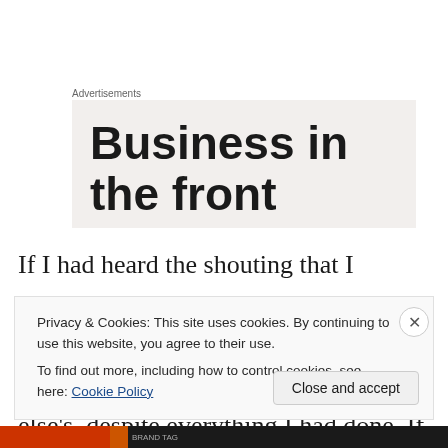Advertisements
[Figure (other): Advertisement banner showing bold text 'Business in the front' on a light beige background]
If I had heard the shouting that I wouldn't be anything unless I won more often than Kobe. If my life was defined, to some degree, by someone else's, despite everything I had done. If I hadn't made Kobe realize that the missing
Privacy & Cookies: This site uses cookies. By continuing to use this website, you agree to their use.
To find out more, including how to control cookies, see here: Cookie Policy